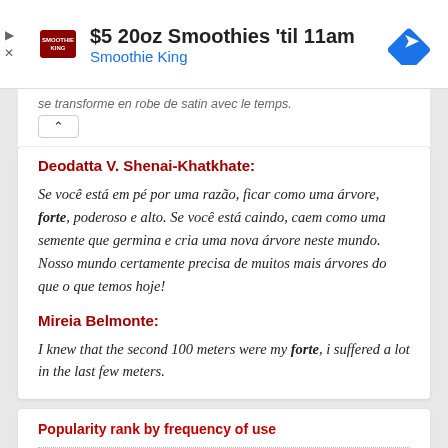[Figure (other): Advertisement banner for Smoothie King: '$5 20oz Smoothies til 11am' with Smoothie King logo and a blue diamond navigation icon]
se transforme en robe de satin avec le temps.
Deodatta V. Shenai-Khatkhate:
Se você está em pé por uma razão, ficar como uma árvore, forte, poderoso e alto. Se você está caindo, caem como uma semente que germina e cria uma nova árvore neste mundo. Nosso mundo certamente precisa de muitos mais árvores do que o que temos hoje!
Mireia Belmonte:
I knew that the second 100 meters were my forte, i suffered a lot in the last few meters.
Popularity rank by frequency of use